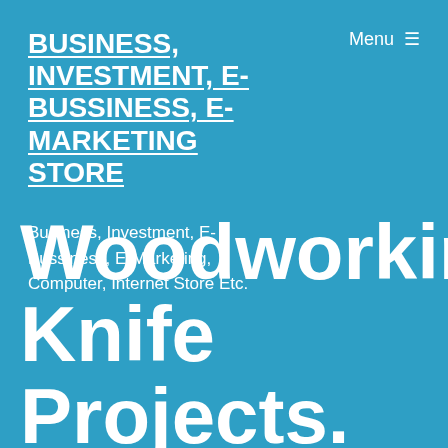Menu ☰
BUSINESS, INVESTMENT, E-BUSSINESS, E-MARKETING STORE
Business, Investment, E-Bussiness, E-Marketing, Computer, Internet Store Etc.
Woodworking Knife Projects.